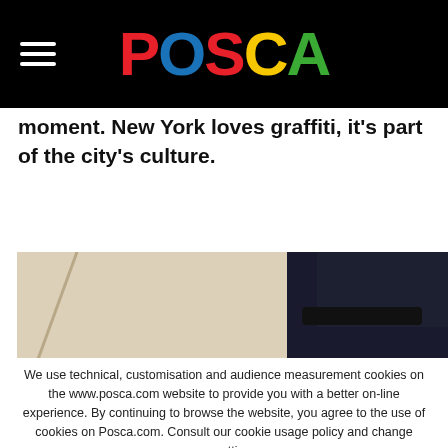POSCA
moment. New York loves graffiti, it's part of the city's culture.
[Figure (photo): Partial photo of a person wearing a dark cap, against a light wall with a dark frame visible on the right]
We use technical, customisation and audience measurement cookies on the www.posca.com website to provide you with a better on-line experience. By continuing to browse the website, you agree to the use of cookies on Posca.com. Consult our cookie usage policy and change your settings.
Accept all cookies
More informations